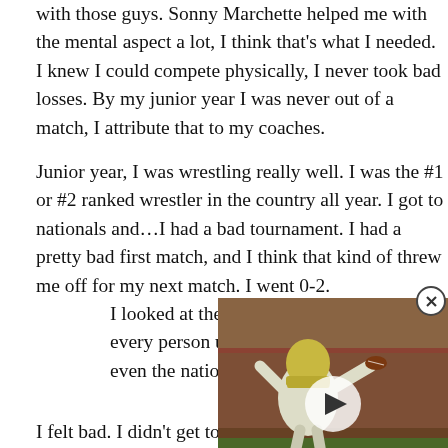with those guys. Sonny Marchette helped me with the mental aspect a lot, I think that's what I needed. I knew I could compete physically, I never took bad losses. By my junior year I was never out of a match, I attribute that to my coaches.
Junior year, I was wrestling really well. I was the #1 or #2 ranked wrestler in the country all year. I got to nationals and…I had a bad tournament. I had a pretty bad first match, and I think that kind of threw me off for my next match. I went 0-2.
I looked at the podium tha… every person up there. Al… even the national champ.
[Figure (photo): Video overlay showing a football player in a white uniform throwing a pass, with a play button overlay and close button]
I felt bad. I didn't get to perform the way I thought I could.
Senior year, I came back strong and had a really good year again, probably only lost two or three times. Two of